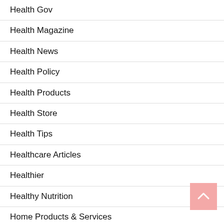Health Gov
Health Magazine
Health News
Health Policy
Health Products
Health Store
Health Tips
Healthcare Articles
Healthier
Healthy Nutrition
Home Products & Services
Internet Services
Men'S Health
Nutrition